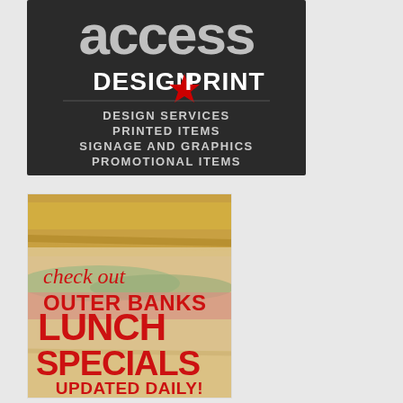[Figure (advertisement): Access Design Print advertisement on dark charcoal background. Top shows 'access' in large bold metallic letters, then 'DESIGN STAR PRINT' in bold white with a red star. Below lists services: DESIGN SERVICES, PRINTED ITEMS, SIGNAGE AND GRAPHICS, PROMOTIONAL ITEMS in bold white centered text.]
[Figure (advertisement): Outer Banks Lunch Specials advertisement. Background shows close-up photo of a sandwich with lettuce, meat, and bread. Text overlay reads 'check out' in red script, 'OUTER BANKS' in large bold red, 'LUNCH' in very large bold red, 'SPECIALS' in very large bold red, 'UPDATED DAILY!' in large bold red at bottom.]